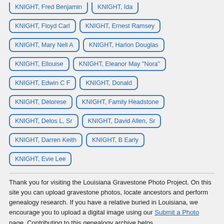KNIGHT, Fred Benjamin
KNIGHT, Ida
KNIGHT, Floyd Carl
KNIGHT, Ernest Ramsey
KNIGHT, Mary Nell A
KNIGHT, Harlon Douglas
KNIGHT, Ellouise
KNIGHT, Eleanor May "Nora"
KNIGHT, Edwin C F
KNIGHT, Donald
KNIGHT, Delorese
KNIGHT, Family Headstone
KNIGHT, Delos L, Sr
KNIGHT, David Allen, Sr
KNIGHT, Darren Keith
KNIGHT, B Early
KNIGHT, Evie Lee
Thank you for visiting the Louisiana Gravestone Photo Project. On this site you can upload gravestone photos, locate ancestors and perform genealogy research. If you have a relative buried in Louisiana, we encourage you to upload a digital image using our Submit a Photo page. Contributing to this genealogy archive helps family historians and researchers learn about their relatives.